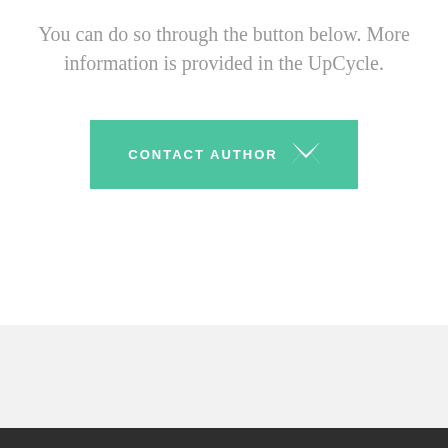You can do so through the button below. More information is provided in the UpCycle.
[Figure (other): A teal/green rectangular button with white uppercase text 'CONTACT AUTHOR' and an envelope icon on the right]